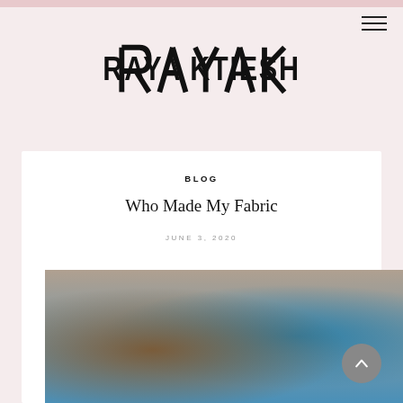[Figure (logo): RAYA KTIESH brand logo in bold geometric angular font, black on light pink background]
BLOG
Who Made My Fabric
JUNE 3, 2020
[Figure (photo): Hands holding two pieces of fabric — one dark floral print and one teal/blue geometric patterned fabric]